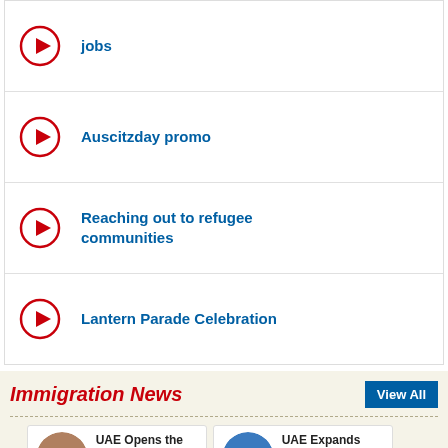jobs
Auscitzday promo
Reaching out to refugee communities
Lantern Parade Celebration
Immigration News
View All
UAE Opens the Golden Card Scheme to Attract Top Investors and
UAE Expands Visa Amnesty Program for a Month; Thousands of